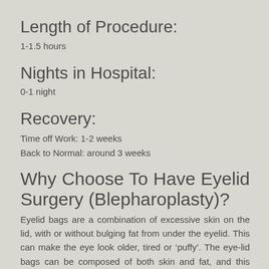Length of Procedure:
1-1.5 hours
Nights in Hospital:
0-1 night
Recovery:
Time off Work: 1-2 weeks
Back to Normal: around 3 weeks
Why Choose To Have Eyelid Surgery (Blepharoplasty)?
Eyelid bags are a combination of excessive skin on the lid, with or without bulging fat from under the eyelid. This can make the eye look older, tired or ‘puffy’. The eye-lid bags can be composed of both skin and fat, and this varies between people. Older people usually have extra skin with variable amounts of fat, while younger people tend to have prominent fat.